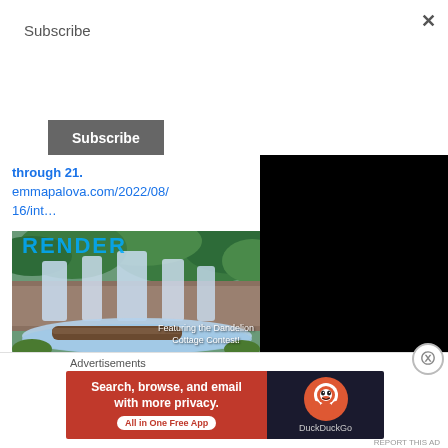Subscribe
Subscribe (button)
through 21. emmapalova.com/2022/08/16/int…
[Figure (photo): Waterfall image with green foliage and text overlay 'Featuring the Dandelion Cottage Contest!' with RENDER heading partially visible at top]
emmapalova.com
Into Paradise
Advertisements
[Figure (infographic): DuckDuckGo advertisement banner: 'Search, browse, and email with more privacy. All in One Free App' with DuckDuckGo logo on dark right side]